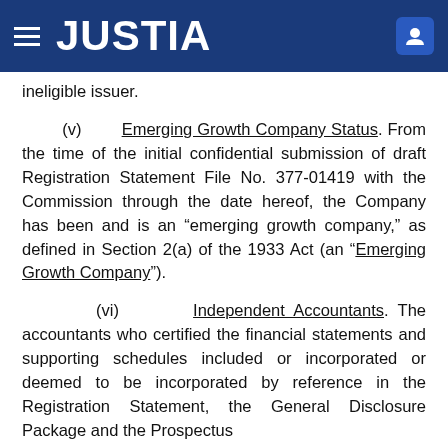JUSTIA
ineligible issuer.
(v) Emerging Growth Company Status. From the time of the initial confidential submission of draft Registration Statement File No. 377-01419 with the Commission through the date hereof, the Company has been and is an “emerging growth company,” as defined in Section 2(a) of the 1933 Act (an “Emerging Growth Company”).
(vi) Independent Accountants. The accountants who certified the financial statements and supporting schedules included or incorporated or deemed to be incorporated by reference in the Registration Statement, the General Disclosure Package and the Prospectus